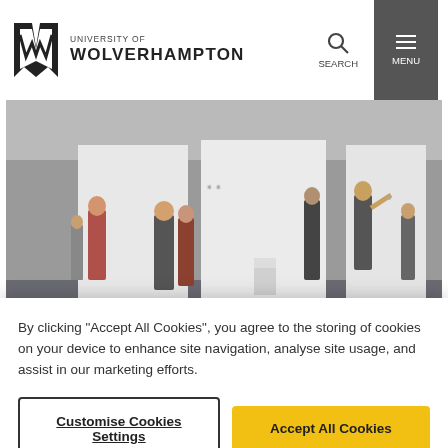[Figure (logo): University of Wolverhampton logo with stylized W mark]
[Figure (photo): People viewing an art gallery exhibition, standing in front of white walls with artwork]
The Careers Team have been working together with the School of Art and ArtsFest to create a brand new series
By clicking “Accept All Cookies”, you agree to the storing of cookies on your device to enhance site navigation, analyse site usage, and assist in our marketing efforts.
Customise Cookies Settings
Accept All Cookies